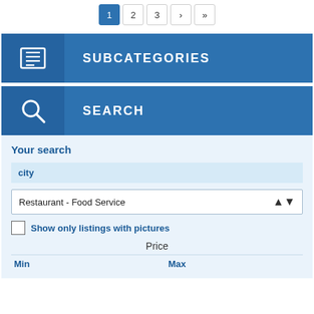1 2 3 › »
SUBCATEGORIES
SEARCH
Your search
city
Restaurant - Food Service
Show only listings with pictures
Price
Min
Max